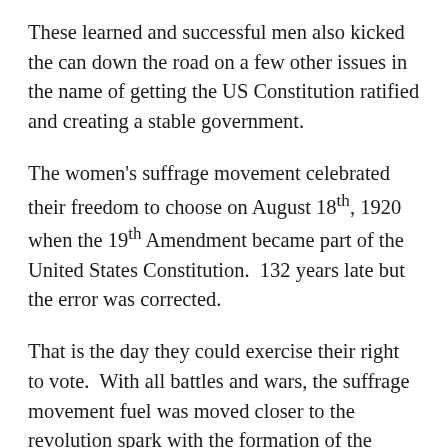These learned and successful men also kicked the can down the road on a few other issues in the name of getting the US Constitution ratified and creating a stable government.
The women's suffrage movement celebrated their freedom to choose on August 18th, 1920 when the 19th Amendment became part of the United States Constitution.  132 years late but the error was corrected.
That is the day they could exercise their right to vote.  With all battles and wars, the suffrage movement fuel was moved closer to the revolution spark with the formation of the United States under the US Constitution.
In a letter to John Adams on March